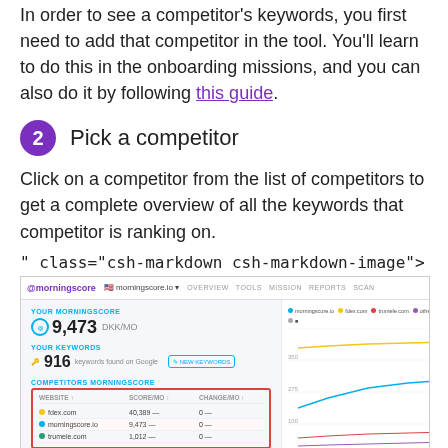In order to see a competitor's keywords, you first need to add that competitor in the tool. You'll learn to do this in the onboarding missions, and you can also do it by following this guide.
2  Pick a competitor
Click on a competitor from the list of competitors to get a complete overview of all the keywords that competitor is ranking on.
" class="csh-markdown csh-markdown-image">
[Figure (screenshot): Screenshot of Morningscore dashboard showing competitor keywords overview with a table listing competitors like fdex.com, morningscore.io, and trumele.com with their scores and changes.]